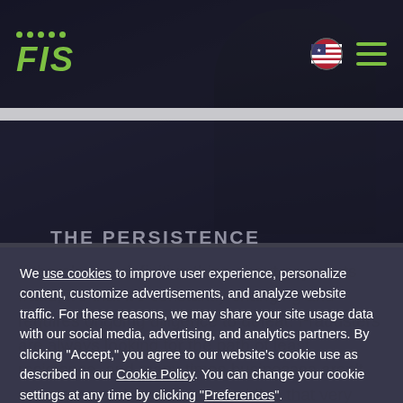FIS
THE PERSISTENCE
If there's one definitive thing about payments fraud, it's that it's constantly changing and requires ongoing diligence to defeat. Fraudsters are always looking for the path of least resistance, and many times businesses aren't even aware when they're providing that very path.
We use cookies to improve user experience, personalize content, customize advertisements, and analyze website traffic. For these reasons, we may share your site usage data with our social media, advertising, and analytics partners. By clicking "Accept," you agree to our website's cookie use as described in our Cookie Policy. You can change your cookie settings at any time by clicking "Preferences".
Decline
Accept
Manage Cookie Preferences
But knowledge is power. The more information you have about how fraud is being executed and the solutions that can mitigate its effects, the better you can protect your business by arming yourself with technology, best